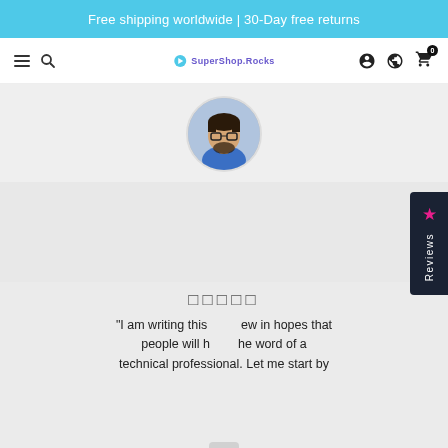Free shipping worldwide | 30-Day free returns
[Figure (screenshot): E-commerce website header with hamburger menu, search icon, SuperShop.Rocks logo, account icon, globe icon, and cart icon with badge showing 0]
[Figure (photo): Profile photo of a man with glasses and beard wearing a blue shirt]
□□□□□
"I am writing this review in hopes that people will h the word of a technical professional. Let me start by